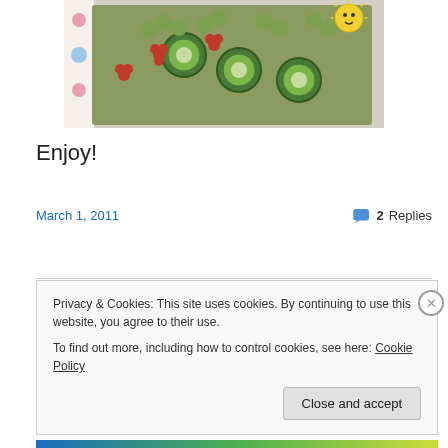[Figure (photo): A food platter decorated with green grapes, cucumber slices with red flower-shaped garnishes, arranged on a polka-dot surface with a smiley sun decoration]
Enjoy!
March 1, 2011
2 Replies
Privacy & Cookies: This site uses cookies. By continuing to use this website, you agree to their use.
To find out more, including how to control cookies, see here: Cookie Policy
Close and accept